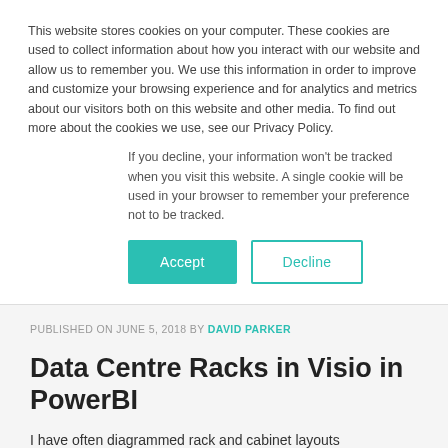This website stores cookies on your computer. These cookies are used to collect information about how you interact with our website and allow us to remember you. We use this information in order to improve and customize your browsing experience and for analytics and metrics about our visitors both on this website and other media. To find out more about the cookies we use, see our Privacy Policy.
If you decline, your information won't be tracked when you visit this website. A single cookie will be used in your browser to remember your preference not to be tracked.
PUBLISHED ON JUNE 5, 2018 BY DAVID PARKER
Data Centre Racks in Visio in PowerBI
I have often diagrammed rack and cabinet layouts